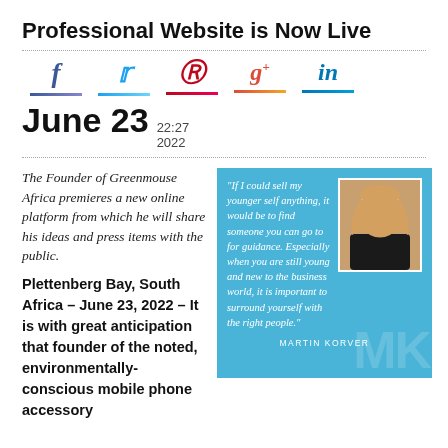Professional Website is Now Live
[Figure (infographic): Social media sharing icons: Facebook (f), Twitter bird, Pinterest (p), Google+ (g+), LinkedIn (in), each with a colored underline bar]
June 23  22:27  2022
The Founder of Greenmouse Africa premieres a new online platform from which he will share his ideas and press items with the public.
[Figure (photo): Blue quote card with a photo of Martin Korver and the quote: 'If I could sell my younger self anything, it would be to find someone you can go to for guidance. Especially when you are still young and new to the business world, it is important to surround yourself with the right people.' — MARTIN KORVER]
Plettenberg Bay, South Africa – June 23, 2022 – It is with great anticipation that founder of the noted, environmentally-conscious mobile phone accessory